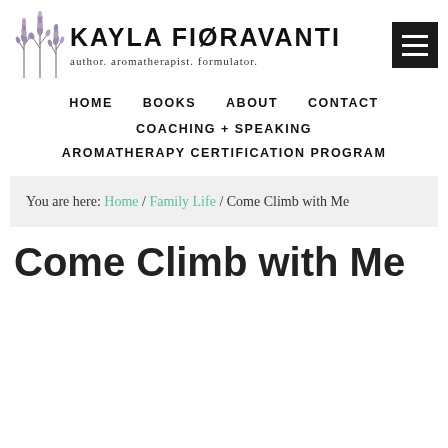[Figure (logo): Kayla Fioravanti website header logo with lavender illustration and site name and tagline]
HOME   BOOKS   ABOUT   CONTACT
COACHING + SPEAKING
AROMATHERAPY CERTIFICATION PROGRAM
You are here: Home / Family Life / Come Climb with Me
Come Climb with Me